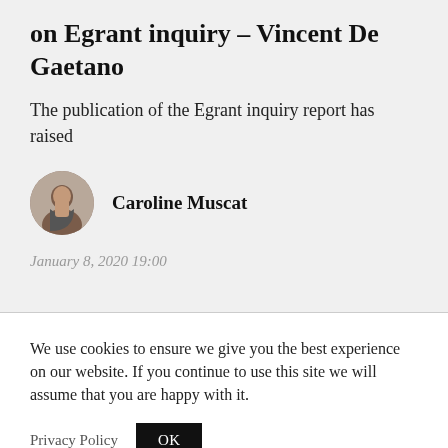on Egrant inquiry – Vincent De Gaetano
The publication of the Egrant inquiry report has raised
[Figure (photo): Circular avatar photo of Caroline Muscat]
Caroline Muscat
January 8, 2020 19:00
We use cookies to ensure we give you the best experience on our website. If you continue to use this site we will assume that you are happy with it.
Privacy Policy
OK